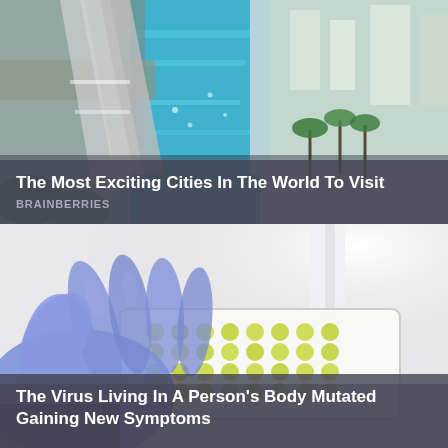[Figure (photo): Aerial view of a city waterway with bridges, blue water, palm trees, and buildings — a tropical city scene]
The Most Exciting Cities In The World To Visit
BRAINBERRIES
[Figure (photo): A gloved hand (blue nitrile glove) holding a laboratory microplate/well plate with yellow-green liquid samples under bright light]
The Virus Living In A Person's Body Mutated Gaining New Symptoms